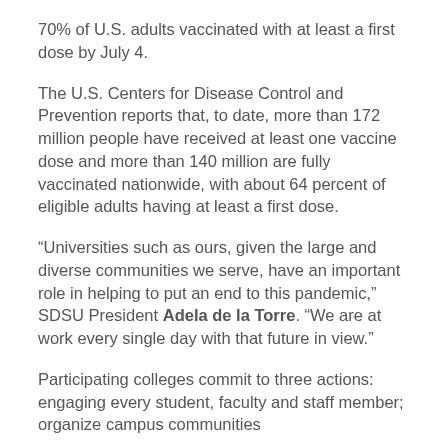70% of U.S. adults vaccinated with at least a first dose by July 4.
The U.S. Centers for Disease Control and Prevention reports that, to date, more than 172 million people have received at least one vaccine dose and more than 140 million are fully vaccinated nationwide, with about 64 percent of eligible adults having at least a first dose.
“Universities such as ours, given the large and diverse communities we serve, have an important role in helping to put an end to this pandemic,” SDSU President Adela de la Torre. “We are at work every single day with that future in view.”
Participating colleges commit to three actions: engaging every student, faculty and staff member; organize campus communities…